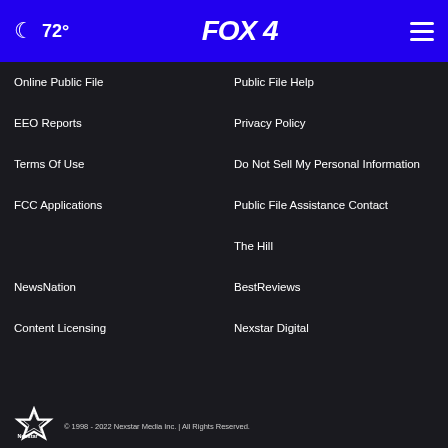72° FOX 4
Online Public File
Public File Help
EEO Reports
Privacy Policy
Terms Of Use
Do Not Sell My Personal Information
FCC Applications
Public File Assistance Contact
The Hill
NewsNation
BestReviews
Content Licensing
Nexstar Digital
© 1998 - 2022 Nexstar Media Inc. | All Rights Reserved.